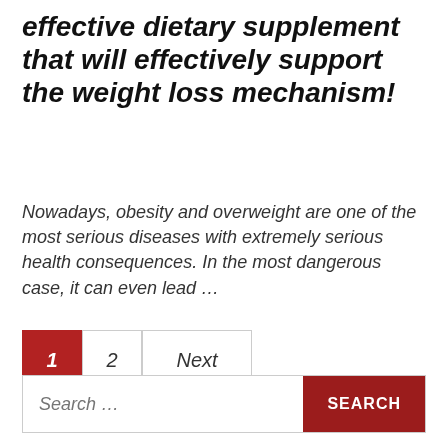effective dietary supplement that will effectively support the weight loss mechanism!
Nowadays, obesity and overweight are one of the most serious diseases with extremely serious health consequences. In the most dangerous case, it can even lead …
1
2
Next